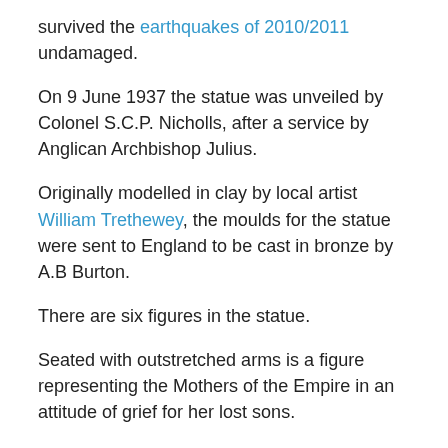survived the earthquakes of 2010/2011 undamaged.
On 9 June 1937 the statue was unveiled by Colonel S.C.P. Nicholls, after a service by Anglican Archbishop Julius.
Originally modelled in clay by local artist William Trethewey, the moulds for the statue were sent to England to be cast in bronze by A.B Burton.
There are six figures in the statue.
Seated with outstretched arms is a figure representing the Mothers of the Empire in an attitude of grief for her lost sons.
St George, in armour, is on the right, facing the Cathedral. He represents valour and protection. On the other side is Youth, holding a torch.